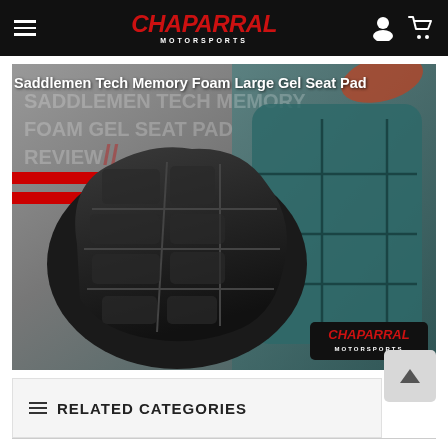Chaparral Motorsports navigation bar
Saddlemen Tech Memory Foam Large Gel Seat Pad
[Figure (photo): Product banner showing a Saddlemen Tech Memory Foam Gel Seat Pad — a black foam seat pad with segmented sections shown against a grey/teal background with red accent stripes and background text reading 'SADDLEMEN TECH MEMORY FOAM GEL SEAT PAD REVIEW'. The Chaparral Motorsports logo appears in the lower right corner of the banner.]
RELATED CATEGORIES